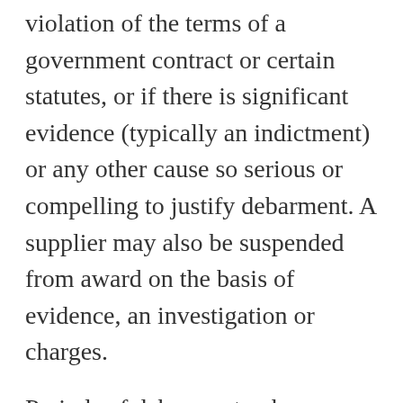violation of the terms of a government contract or certain statutes, or if there is significant evidence (typically an indictment) or any other cause so serious or compelling to justify debarment. A supplier may also be suspended from award on the basis of evidence, an investigation or charges.
Periods of debarment, where mandatory, are spelled out in relevant legislation. For discretionary debarment, a supplier may be excluded for three years and this can be extended. Each agency applies required